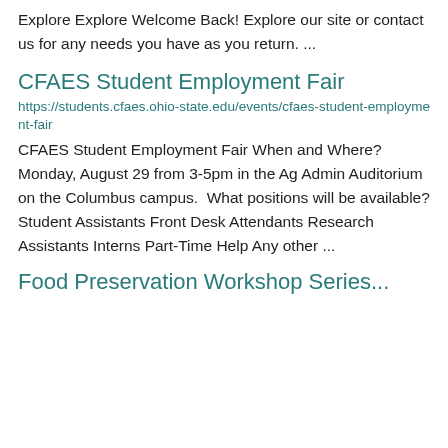Explore Explore Welcome Back! Explore our site or contact us for any needs you have as you return. ...
CFAES Student Employment Fair
https://students.cfaes.ohio-state.edu/events/cfaes-student-employment-fair
CFAES Student Employment Fair When and Where? Monday, August 29 from 3-5pm in the Ag Admin Auditorium on the Columbus campus.  What positions will be available? Student Assistants Front Desk Attendants Research Assistants Interns Part-Time Help Any other ...
Food Preservation Workshop Series...